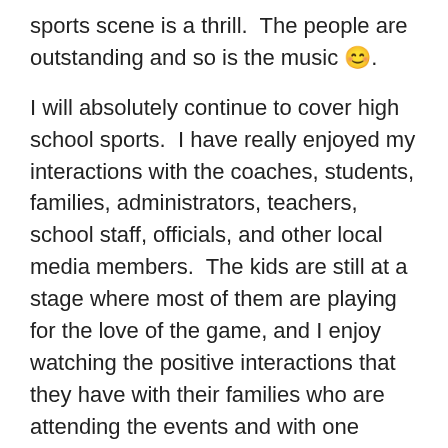sports scene is a thrill.  The people are outstanding and so is the music 😊.
I will absolutely continue to cover high school sports.  I have really enjoyed my interactions with the coaches, students, families, administrators, teachers, school staff, officials, and other local media members.  The kids are still at a stage where most of them are playing for the love of the game, and I enjoy watching the positive interactions that they have with their families who are attending the events and with one another.  It is a wonderful community to be a part of and there are so many fascinating and inspirational stories to tell.  I grew up playing sports in and around Snohomish County and love having a